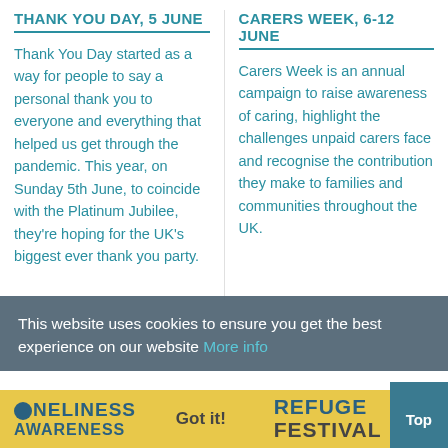THANK YOU DAY, 5 JUNE
Thank You Day started as a way for people to say a personal thank you to everyone and everything that helped us get through the pandemic. This year, on Sunday 5th June, to coincide with the Platinum Jubilee, they're hoping for the UK's biggest ever thank you party.
CARERS WEEK, 6-12 JUNE
Carers Week is an annual campaign to raise awareness of caring, highlight the challenges unpaid carers face and recognise the contribution they make to families and communities throughout the UK.
This website uses cookies to ensure you get the best experience on our website More info
LONELINESS AWARENESS
Got it!
REFUGE FESTIVAL
Top